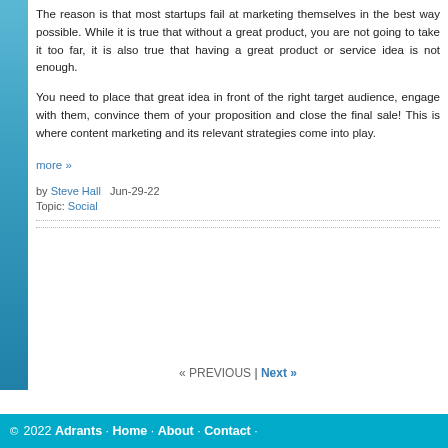The reason is that most startups fail at marketing themselves in the best way possible. While it is true that without a great product, you are not going to take it too far, it is also true that having a great product or service idea is not enough.
You need to place that great idea in front of the right target audience, engage with them, convince them of your proposition and close the final sale! This is where content marketing and its relevant strategies come into play.
more »
by Steve Hall   Jun-29-22
Topic: Social
« PREVIOUS | Next »
© 2022 Adrants · Home · About · Contact ·